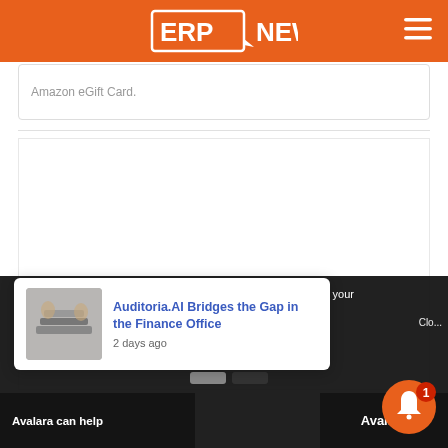ERP NEWS
Amazon eGift Card.
[Figure (screenshot): Large white blank content area, advertisement or article placeholder]
We anonymously measure your use of this website to improve your experience on it.
[Figure (photo): Notification card showing article thumbnail (hands on keyboard) and title 'Auditoria.AI Bridges the Gap in the Finance Office' with timestamp '2 days ago']
Auditoria.AI Bridges the Gap in the Finance Office
2 days ago
Avalara can help
Avalara